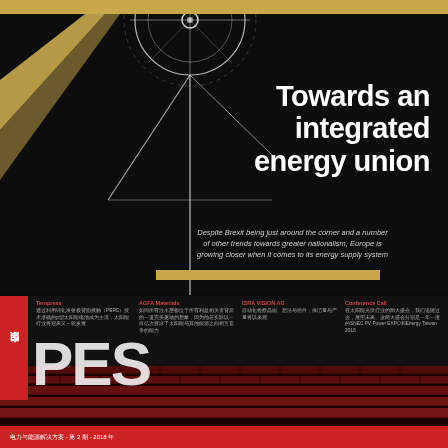[Figure (illustration): Dark magazine cover with solar panel / energy engineering illustration in white line art on black background, with gold geometric shapes and circular turbine motif]
Towards an integrated energy union
Despite Brexit being just around the corner and a number of other trends towards greater nationalism, Europe is growing closer when it comes to its energy supply system
Tempress
通过利用钝化发射极背面接触（PERC）技术准确的p型太阳能电池成为主流，太阳能行业将迎来又一轮发展
AGFA Materials
如同所有注水层都位于所有利益相关者背后的一道完美惠墙的想象，因为他若实际以一百亿次渡了太阳能与其他能源之间相互竞争的能力
ISRA VISION AG
自动化检察晶圆、想法与组件，保洁量与产量将以来观
Conference Call
在太阳能光伏行业的两大盛会，我们追随过去，展望未来。这两大盛会分别是一年一度的SNEC PV Power EXPO和Energy Taiwan 2018
[Figure (logo): PES large white text logo]
电力与能源解决方案 - 第 2 期 - 2018 年